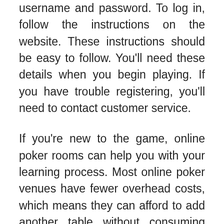username and password. To log in, follow the instructions on the website. These instructions should be easy to follow. You'll need these details when you begin playing. If you have trouble registering, you'll need to contact customer service.
If you're new to the game, online poker rooms can help you with your learning process. Most online poker venues have fewer overhead costs, which means they can afford to add another table without consuming valuable space. You'll be able to play for low stakes, making online poker sites more affordable for beginners. Many online poker rooms also have poker freeroll tournaments, which appeal to new players and the less wealthy. This allows you to practice poker strategies for free, without the risk of gambling large sums of